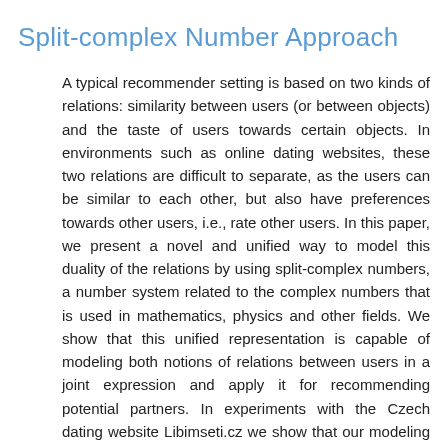Split-complex Number Approach
A typical recommender setting is based on two kinds of relations: similarity between users (or between objects) and the taste of users towards certain objects. In environments such as online dating websites, these two relations are difficult to separate, as the users can be similar to each other, but also have preferences towards other users, i.e., rate other users. In this paper, we present a novel and unified way to model this duality of the relations by using split-complex numbers, a number system related to the complex numbers that is used in mathematics, physics and other fields. We show that this unified representation is capable of modeling both notions of relations between users in a joint expression and apply it for recommending potential partners. In experiments with the Czech dating website Libimseti.cz we show that our modeling approach leads to an improvement over baseline recommendation methods in this